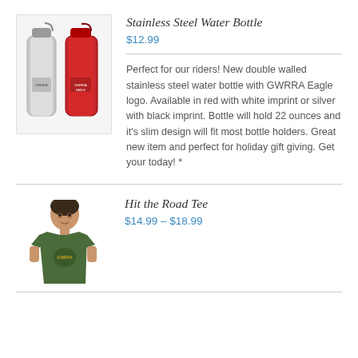[Figure (photo): Two stainless steel water bottles, one silver and one red, with GWRRA Eagle logo]
Stainless Steel Water Bottle
$12.99
Perfect for our riders! New double walled stainless steel water bottle with GWRRA Eagle logo. Available in red with white imprint or silver with black imprint. Bottle will hold 22 ounces and it's slim design will fit most bottle holders. Great new item and perfect for holiday gift giving. Get your today! *
[Figure (photo): Man wearing a green Hit the Road Tee shirt with GWRRA eagle logo]
Hit the Road Tee
$14.99 – $18.99